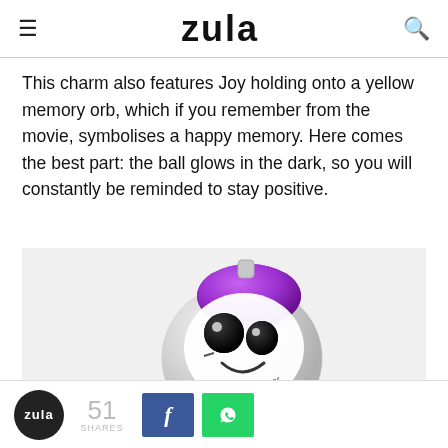zula
This charm also features Joy holding onto a yellow memory orb, which if you remember from the movie, symbolises a happy memory. Here comes the best part: the ball glows in the dark, so you will constantly be reminded to stay positive.
[Figure (photo): A Pandora charm featuring a character with a purple hair highlight, large cartoon eyes, and a smiling face on a silver ball-shaped charm with 'Pixar' text visible.]
zula  51 SHARES  Facebook share  WhatsApp share